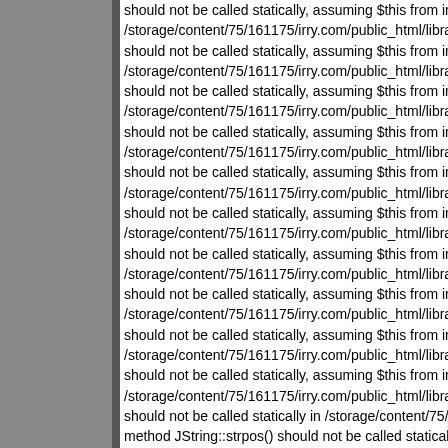should not be called statically, assuming $this from incompatible co /storage/content/75/161175/irry.com/public_html/libraries/joomla/pl should not be called statically, assuming $this from incompatible co /storage/content/75/161175/irry.com/public_html/libraries/joomla/pl should not be called statically, assuming $this from incompatible co /storage/content/75/161175/irry.com/public_html/libraries/joomla/pl should not be called statically, assuming $this from incompatible co /storage/content/75/161175/irry.com/public_html/libraries/joomla/pl should not be called statically, assuming $this from incompatible co /storage/content/75/161175/irry.com/public_html/libraries/joomla/pl should not be called statically, assuming $this from incompatible co /storage/content/75/161175/irry.com/public_html/libraries/joomla/pl should not be called statically, assuming $this from incompatible co /storage/content/75/161175/irry.com/public_html/libraries/joomla/pl should not be called statically, assuming $this from incompatible co /storage/content/75/161175/irry.com/public_html/libraries/joomla/pl should not be called statically, assuming $this from incompatible co /storage/content/75/161175/irry.com/public_html/libraries/joomla/pl should not be called statically, assuming $this from incompatible co /storage/content/75/161175/irry.com/public_html/libraries/joomla/pl should not be called statically in /storage/content/75/161175/irry.co method JString::strpos() should not be called statically in /storage/c Deprecated: Non-static method JRequest::getCmd() should not be /storage/content/75/161175/irry.com/public_html/plugins/content/co should not be called statically, assuming $this from incompatible co /storage/content/75/161175/irry.com/public_html/libraries/joomla/en JRequest::_cleanVar() should not be called statically, assuming $th /storage/content/75/161175/irry.com/public_html/libraries/joomla/en